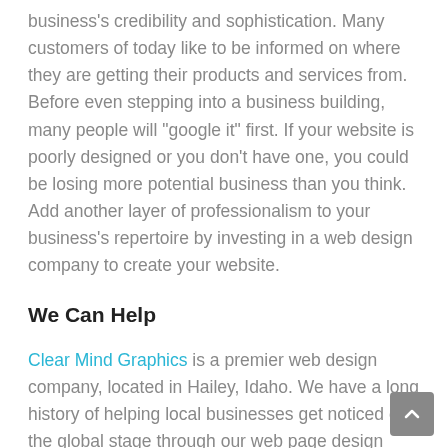business's credibility and sophistication. Many customers of today like to be informed on where they are getting their products and services from. Before even stepping into a business building, many people will “google it” first. If your website is poorly designed or you don’t have one, you could be losing more potential business than you think. Add another layer of professionalism to your business’s repertoire by investing in a web design company to create your website.
We Can Help
Clear Mind Graphics is a premier web design company, located in Hailey, Idaho. We have a long history of helping local businesses get noticed on the global stage through our web page design services. We have the skill, experience, and professional experts to create unique, functional, and responsive websites that will fit your budget.